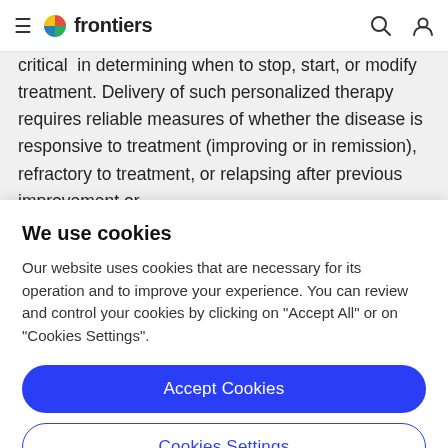frontiers
critical in determining when to stop, start, or modify treatment. Delivery of such personalized therapy requires reliable measures of whether the disease is responsive to treatment (improving or in remission), refractory to treatment, or relapsing after previous improvement or
We use cookies
Our website uses cookies that are necessary for its operation and to improve your experience. You can review and control your cookies by clicking on "Accept All" or on "Cookies Settings".
Accept Cookies
Cookies Settings